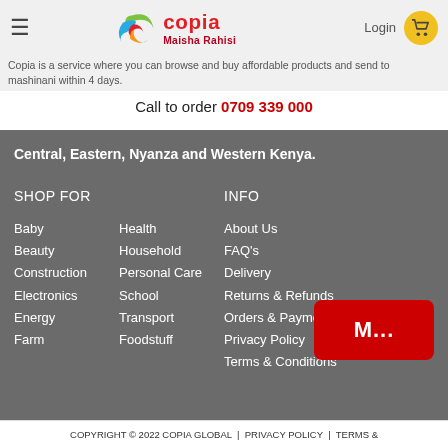[Figure (logo): Copia Maisha Rahisi logo with colorful swirl icon]
Copia is a service where you can browse and buy affordable products and send to mashinani within 4 days.
Call to order 0709 339 000
Central, Eastern, Nyanza and Western Kenya.
SHOP FOR
INFO
Baby
Beauty
Construction
Electronics
Energy
Farm
Health
Household
Personal Care
School
Transport
Foodstuff
About Us
FAQ's
Delivery
Returns & Refunds
Orders & Payment
Privacy Policy
Terms & Conditions
COPYRIGHT © 2022 COPIA GLOBAL | PRIVACY POLICY | TERMS &